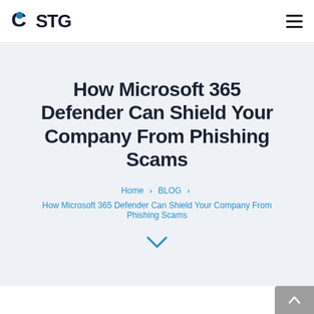CSTG
How Microsoft 365 Defender Can Shield Your Company From Phishing Scams
Home › BLOG › How Microsoft 365 Defender Can Shield Your Company From Phishing Scams